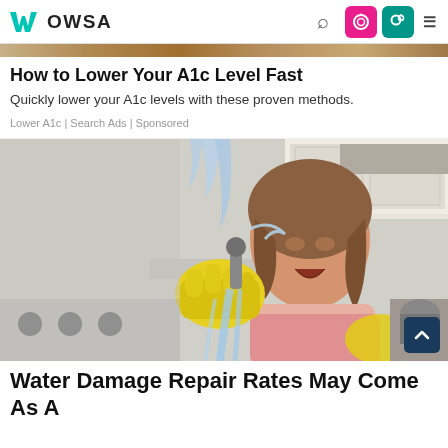Wowsa — navigation bar with logo, search, and menu icons
[Figure (photo): Thin decorative image strip showing a textured sandy/woody background]
How to Lower Your A1c Level Fast
Quickly lower your A1c levels with these proven methods.
Lower A1c | Search Ads | Sponsored
[Figure (photo): Woman wearing yellow rubber gloves, distressed expression, holding a leaking faucet spray in a kitchen setting with water splashing]
Water Damage Repair Rates May Come As A